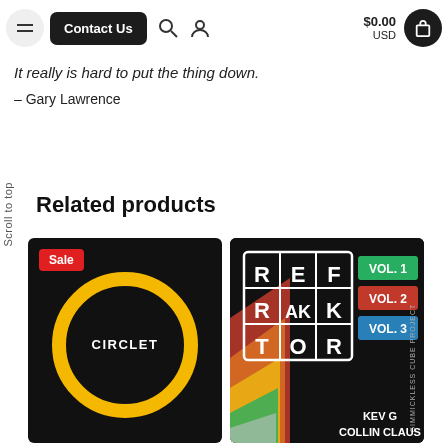Contact Us | $0.00 USD
It really is hard to put the thing down.
– Gary Lawrence
Scroll to top
Related products
[Figure (photo): Circlet product image: black background with a large gold/yellow ring and white text 'CIRCLET' in the center. Red 'Sale' badge in top-left corner.]
[Figure (photo): Refraktor product image: dark background with a 3x3 grid of letters spelling R-E-F / R-AK / T-O-R, colorful volume badges (VOL. 1 green, VOL. 2 red, VOL. 3 blue) on the right, 'GIMMICKLESS CUBE PROJECT' text, and 'KEV G / COLLIN CLAUS' at the bottom.]